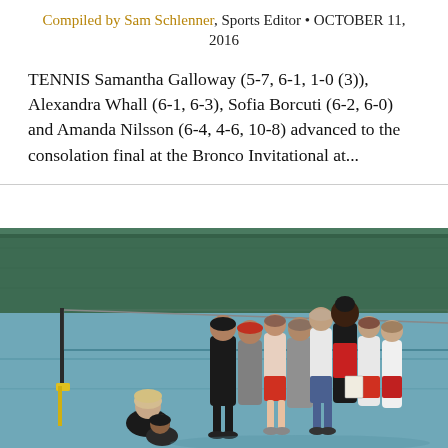Compiled by Sam Schlenner, Sports Editor • OCTOBER 11, 2016
TENNIS Samantha Galloway (5-7, 6-1, 1-0 (3)), Alexandra Whall (6-1, 6-3), Sofia Borcuti (6-2, 6-0) and Amanda Nilsson (6-4, 4-6, 10-8) advanced to the consolation final at the Bronco Invitational at...
[Figure (photo): Group of tennis players and coaches gathered on an indoor tennis court near the net. Several players wearing red and white uniforms, some in dark athletic wear. Two people seated on the ground in the lower left. A yellow equipment base visible at bottom. Green curtain/wall in background.]